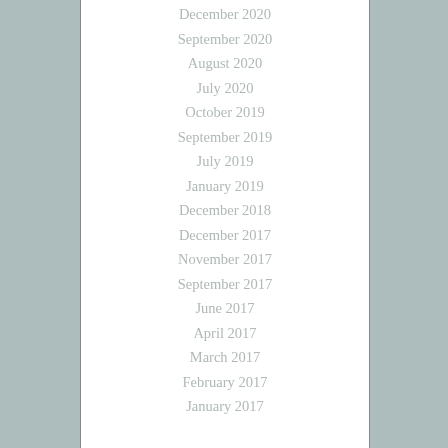December 2020
September 2020
August 2020
July 2020
October 2019
September 2019
July 2019
January 2019
December 2018
December 2017
November 2017
September 2017
June 2017
April 2017
March 2017
February 2017
January 2017